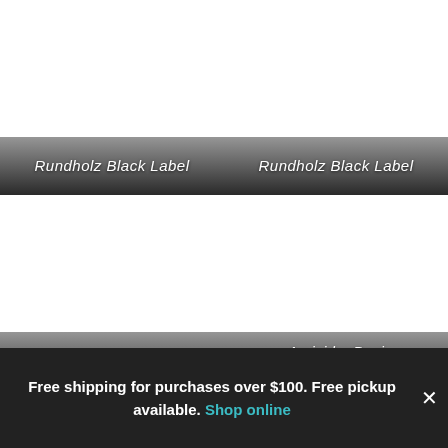[Figure (photo): Top-left product image with dark gradient label bar reading 'Rundholz Black Label']
[Figure (photo): Top-right product image with dark gradient label bar reading 'Rundholz Black Label']
[Figure (photo): Bottom-left product image with dark gradient label bar reading 'Rundholz Black Label']
[Figure (photo): Bottom-right product image with dark gradient label bar reading 'Amici by Baci' and 'Jeans: Verge']
Free shipping for purchases over $100. Free pickup available. Shop online